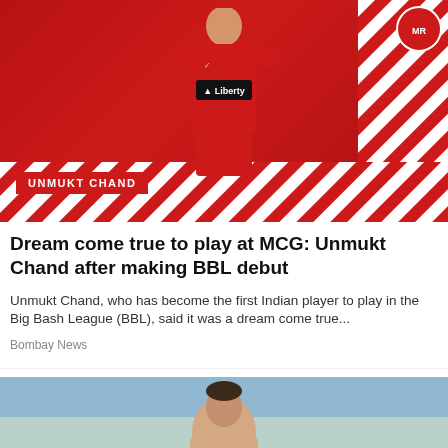[Figure (photo): Unmukt Chand in a red Melbourne Renegades cricket jersey with Liberty sponsor logo, standing in front of a red background with white diagonal stripes, with 'UNMUKT CHAND' name badge at bottom]
Dream come true to play at MCG: Unmukt Chand after making BBL debut
Unmukt Chand, who has become the first Indian player to play in the Big Bash League (BBL), said it was a dream come true...
Bombay News
[Figure (photo): Portrait photo of a man with short dark hair, partially visible, outdoors with blue sky background]